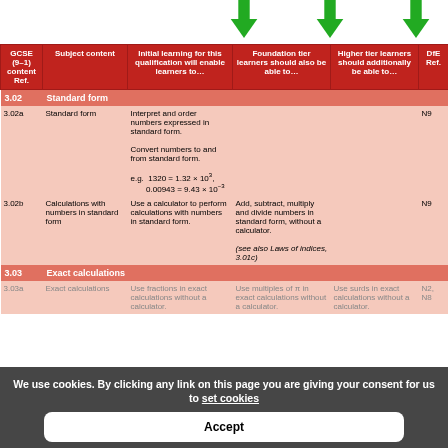| GCSE (9–1) content Ref. | Subject content | Initial learning for this qualification will enable learners to… | Foundation tier learners should also be able to… | Higher tier learners should additionally be able to… | DfE Ref. |
| --- | --- | --- | --- | --- | --- |
| 3.02 | Standard form |  |  |  |  |
| 3.02a | Standard form | Interpret and order numbers expressed in standard form.
Convert numbers to and from standard form.
e.g. 1320 = 1.32 × 10³, 0.00943 = 9.43 × 10⁻³ |  |  | N9 |
| 3.02b | Calculations with numbers in standard form | Use a calculator to perform calculations with numbers in standard form. | Add, subtract, multiply and divide numbers in standard form, without a calculator.
(see also Laws of indices, 3.01c) |  | N9 |
| 3.03 | Exact calculations |  |  |  |  |
| 3.03a | Exact calculations | Use fractions in exact calculations without a calculator. | Use multiples of π in exact calculations without a calculator. | Use surds in exact calculations without a calculator. | N2, N8 |